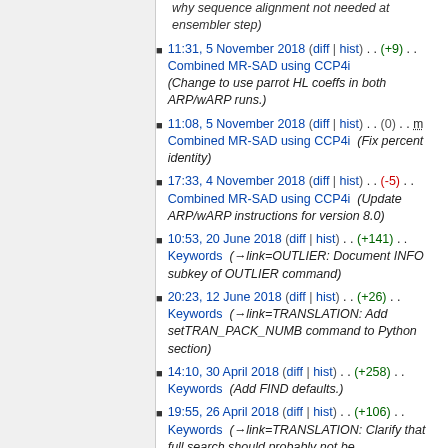why sequence alignment not needed at ensembler step)
11:31, 5 November 2018 (diff | hist) . . (+9) . . Combined MR-SAD using CCP4i (Change to use parrot HL coeffs in both ARP/wARP runs.)
11:08, 5 November 2018 (diff | hist) . . (0) . . m Combined MR-SAD using CCP4i (Fix percent identity)
17:33, 4 November 2018 (diff | hist) . . (-5) . . Combined MR-SAD using CCP4i (Update ARP/wARP instructions for version 8.0)
10:53, 20 June 2018 (diff | hist) . . (+141) . . Keywords (→link=OUTLIER: Document INFO subkey of OUTLIER command)
20:23, 12 June 2018 (diff | hist) . . (+26) . . Keywords (→link=TRANSLATION: Add setTRAN_PACK_NUMB command to Python section)
14:10, 30 April 2018 (diff | hist) . . (+258) . . Keywords (Add FIND defaults.)
19:55, 26 April 2018 (diff | hist) . . (+106) . . Keywords (→link=TRANSLATION: Clarify that full search should probably not be